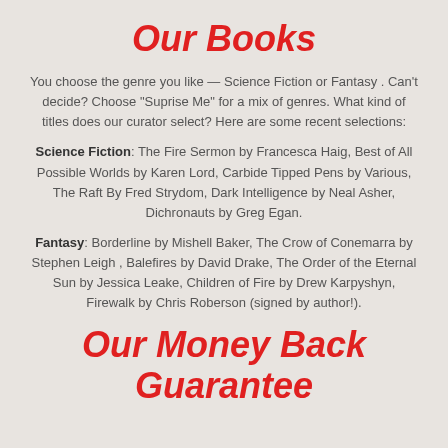Our Books
You choose the genre you like — Science Fiction or Fantasy .  Can't decide?  Choose "Suprise Me" for a mix of genres.  What kind of titles does our curator select?  Here are some recent selections:
Science Fiction: The Fire Sermon by Francesca Haig, Best of All Possible Worlds by Karen Lord, Carbide Tipped Pens by Various, The Raft By Fred Strydom, Dark Intelligence by Neal Asher, Dichronauts by Greg Egan.
Fantasy:  Borderline by Mishell Baker, The Crow of Conemarra by Stephen Leigh , Balefires by David Drake, The Order of the Eternal Sun by Jessica Leake, Children of Fire by Drew Karpyshyn, Firewalk by Chris Roberson (signed by author!).
Our Money Back Guarantee